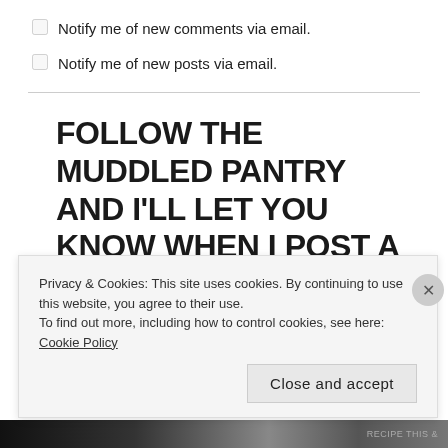Notify me of new comments via email.
Notify me of new posts via email.
FOLLOW THE MUDDLED PANTRY AND I'LL LET YOU KNOW WHEN I POST A NEW RECIPE:
Privacy & Cookies: This site uses cookies. By continuing to use this website, you agree to their use.
To find out more, including how to control cookies, see here: Cookie Policy
Close and accept